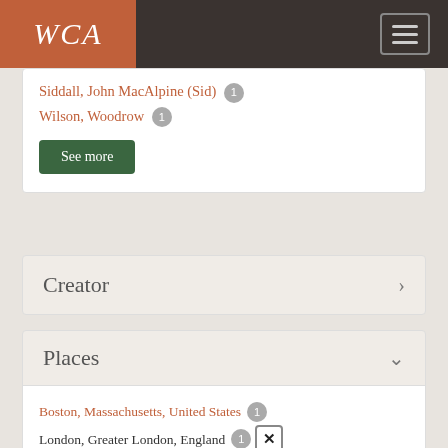WCA
Siddall, John MacAlpine (Sid) 1
Wilson, Woodrow 1
See more
Creator
Places
Boston, Massachusetts, United States 1
London, Greater London, England 1 ✕
New York, New York, United States 1 ✕
See more